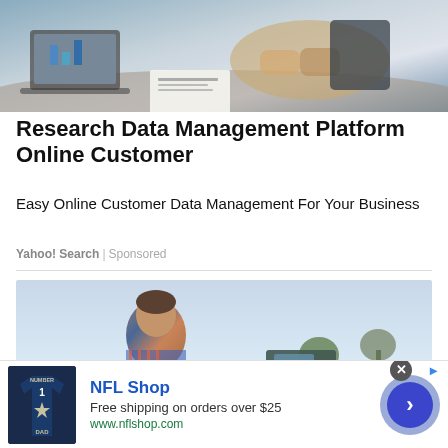[Figure (photo): Business meeting photo showing people shaking hands over a table with a laptop and documents]
Research Data Management Platform Online Customer
Easy Online Customer Data Management For Your Business
Yahoo! Search | Sponsored
[Figure (photo): Man in plaid shirt with tractor in agricultural field background]
[Figure (advertisement): NFL Shop banner ad: Free shipping on orders over $25, www.nflshop.com, with NFL jersey image and arrow CTA button]